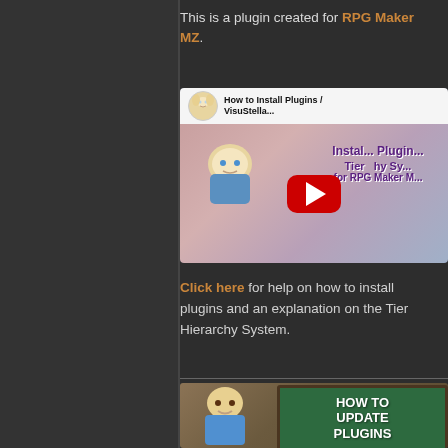This is a plugin created for RPG Maker MZ.
[Figure (screenshot): YouTube video thumbnail showing 'How to Install Plugins / VisuStella MZ Tier Hierarchy System for RPG Maker MZ' with anime character avatar and red play button]
Click here for help on how to install plugins and an explanation on the Tier Hierarchy System.
[Figure (screenshot): Video thumbnail showing 'HOW TO UPDATE PLUGINS' text on green chalkboard with anime character]